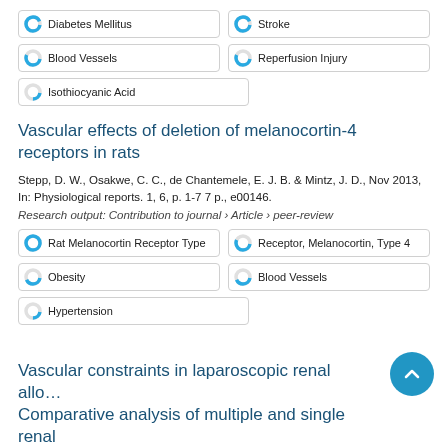Diabetes Mellitus
Stroke
Blood Vessels
Reperfusion Injury
Isothiocyanic Acid
Vascular effects of deletion of melanocortin-4 receptors in rats
Stepp, D. W., Osakwe, C. C., de Chantemele, E. J. B. & Mintz, J. D., Nov 2013, In: Physiological reports. 1, 6, p. 1-7 7 p., e00146.
Research output: Contribution to journal › Article › peer-review
Rat Melanocortin Receptor Type
Receptor, Melanocortin, Type 4
Obesity
Blood Vessels
Hypertension
Vascular constraints in laparoscopic renal allo… Comparative analysis of multiple and single renal